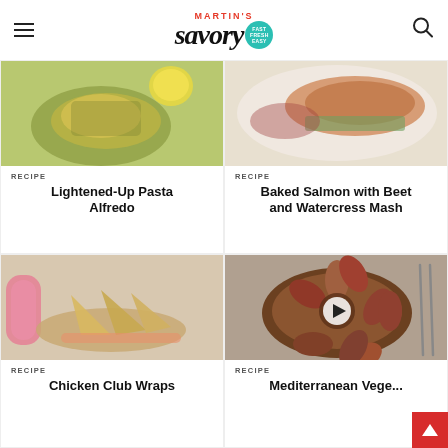MARTIN'S savory
[Figure (photo): Overhead shot of Lightened-Up Pasta Alfredo in a dark pan with spinach and lemon]
RECIPE
Lightened-Up Pasta Alfredo
[Figure (photo): Baked Salmon with Beet and Watercress Mash on a white plate with greens and berry sauce]
RECIPE
Baked Salmon with Beet and Watercress Mash
[Figure (photo): Chicken Club Wraps in a pink basket with a pink drink]
RECIPE
Chicken Club Wraps
[Figure (photo): Mediterranean Vegetable Casserole in a dark wood bowl with play button overlay]
RECIPE
Mediterranean Vege...